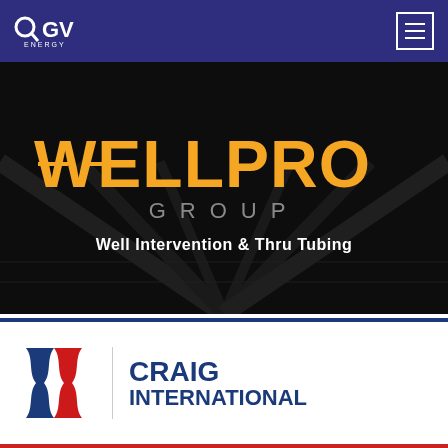OGV Energy — navigation header with hamburger menu
[Figure (logo): WellPro Group logo on dark background with text 'Well Intervention & Thru Tubing']
[Figure (logo): Craig International logo — blue and red flag emblem with company name 'CRAIG INTERNATIONAL']